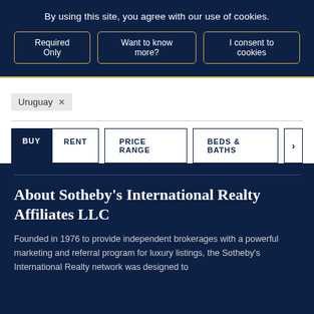By using this site, you agree with our use of cookies.
Required Only
Want to know more?
I consent to cookies
Uruguay ×
BUY   RENT   PRICE RANGE   BEDS & BATHS  >
About Sotheby's International Realty Affiliates LLC
Founded in 1976 to provide independent brokerages with a powerful marketing and referral program for luxury listings, the Sotheby's International Realty network was designed to